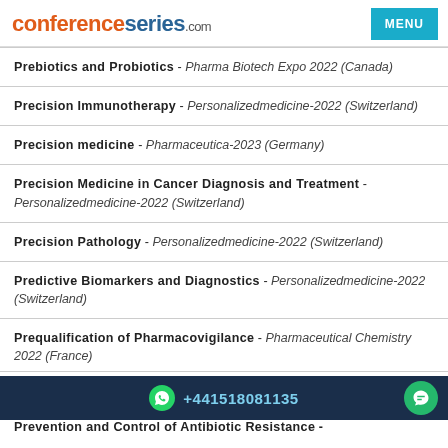conferenceseries.com | MENU
Prebiotics and Probiotics - Pharma Biotech Expo 2022 (Canada)
Precision Immunotherapy - Personalizedmedicine-2022 (Switzerland)
Precision medicine - Pharmaceutica-2023 (Germany)
Precision Medicine in Cancer Diagnosis and Treatment - Personalizedmedicine-2022 (Switzerland)
Precision Pathology - Personalizedmedicine-2022 (Switzerland)
Predictive Biomarkers and Diagnostics - Personalizedmedicine-2022 (Switzerland)
Prequalification of Pharmacovigilance - Pharmaceutical Chemistry 2022 (France)
Prevention and Control of Antibiotic Resistance -